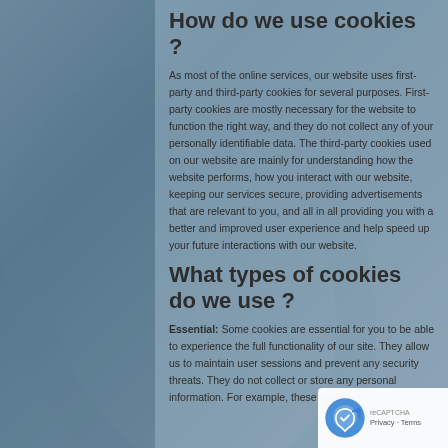How do we use cookies ?
As most of the online services, our website uses first-party and third-party cookies for several purposes. First-party cookies are mostly necessary for the website to function the right way, and they do not collect any of your personally identifiable data. The third-party cookies used on our website are mainly for understanding how the website performs, how you interact with our website, keeping our services secure, providing advertisements that are relevant to you, and all in all providing you with a better and improved user experience and help speed up your future interactions with our website.
What types of cookies do we use ?
Essential: Some cookies are essential for you to be able to experience the full functionality of our site. They allow us to maintain user sessions and prevent any security threats. They do not collect or store any personal information. For example, these cookies